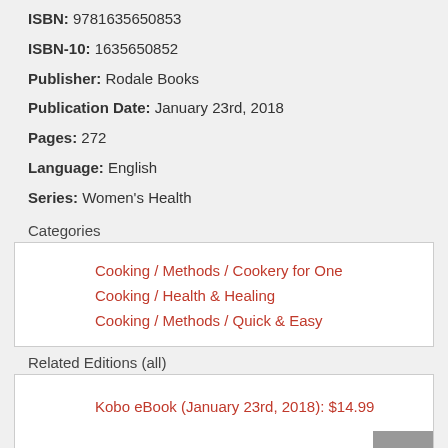ISBN: 9781635650853
ISBN-10: 1635650852
Publisher: Rodale Books
Publication Date: January 23rd, 2018
Pages: 272
Language: English
Series: Women's Health
Categories
Cooking / Methods / Cookery for One
Cooking / Health & Healing
Cooking / Methods / Quick & Easy
Related Editions (all)
Kobo eBook (January 23rd, 2018): $14.99